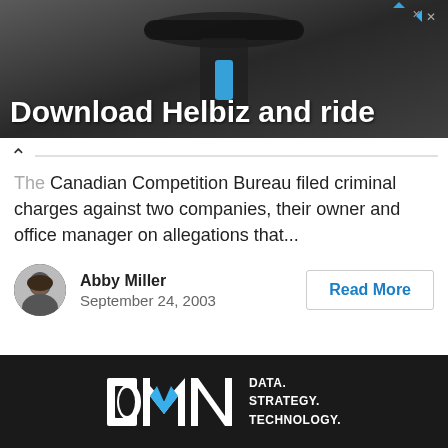[Figure (screenshot): Advertisement banner with dark background showing a scooter handlebar image and text 'Download Helbiz and ride' with a close button in the top right corner]
The Canadian Competition Bureau filed criminal charges against two companies, their owner and office manager on allegations that...
Abby Miller
September 24, 2003
[Figure (logo): DMN logo on dark background with text DATA. STRATEGY. TECHNOLOGY.]